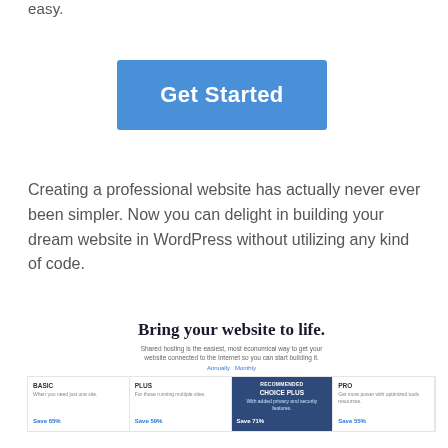easy.
[Figure (screenshot): Blue 'Get Started' button]
Creating a professional website has actually never ever been simpler. Now you can delight in building your dream website in WordPress without utilizing any kind of code.
[Figure (screenshot): Bluehost pricing page screenshot showing 'Bring your website to life.' heading with shared hosting plans: BASIC, PLUS, CHOICE PLUS (RECOMMENDED), PRO with savings labels and prices.]